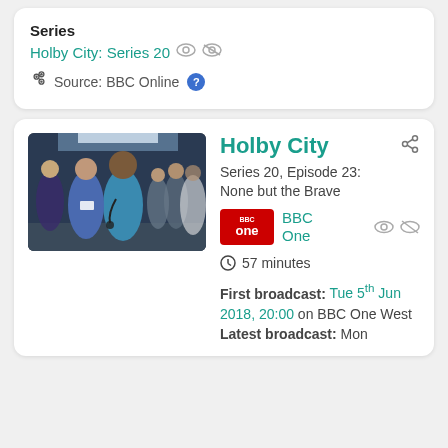Series
Holby City: Series 20
Source: BBC Online
[Figure (photo): Photo of Holby City cast in hospital scrubs]
Holby City
Series 20, Episode 23: None but the Brave
[Figure (logo): BBC One logo in red]
BBC One
57 minutes
First broadcast: Tue 5th Jun 2018, 20:00 on BBC One West
Latest broadcast: Mon